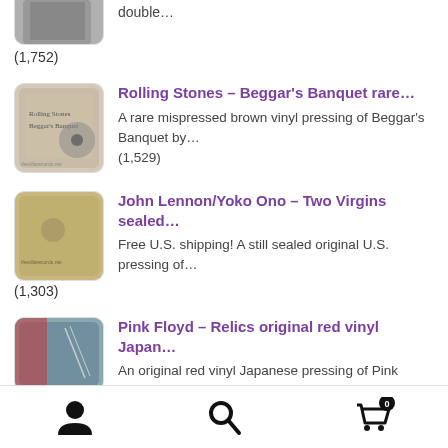[Figure (photo): Partial album cover image at top, cropped]
double…
(1,752)
[Figure (photo): Rolling Stones Beggar's Banquet album cover thumbnail]
Rolling Stones – Beggar's Banquet rare…
A rare mispressed brown vinyl pressing of Beggar's Banquet by…
(1,529)
[Figure (photo): John Lennon/Yoko Ono Two Virgins album cover thumbnail]
John Lennon/Yoko Ono – Two Virgins sealed…
Free U.S. shipping! A still sealed original U.S. pressing of…
(1,303)
[Figure (photo): Pink Floyd Relics original red vinyl Japan album cover thumbnail]
Pink Floyd – Relics original red vinyl Japan…
An original red vinyl Japanese pressing of Pink
Navigation bar with user icon, search icon, and cart icon with badge 0